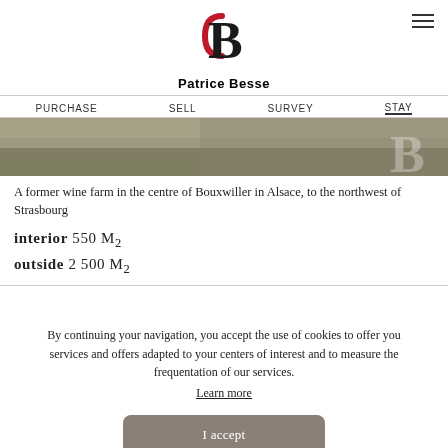Patrice Besse
PURCHASE  SELL  SURVEY  STAY
[Figure (photo): Partial view of a property exterior, stone or gravel pathway, with a large stylized B watermark overlay]
A former wine farm in the centre of Bouxwiller in Alsace, to the northwest of Strasbourg
interior 550 M2
outside 2500 M2
By continuing your navigation, you accept the use of cookies to offer you services and offers adapted to your centers of interest and to measure the frequentation of our services.
Learn more
I accept